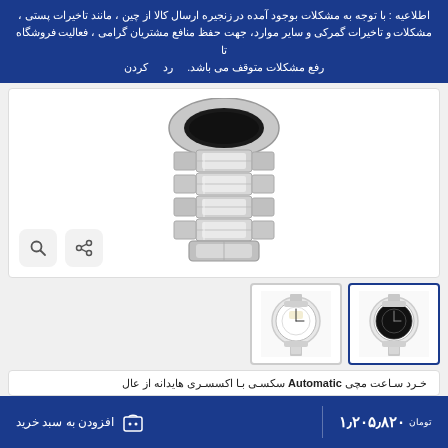اطلاعیه : با توجه به مشکلات بوجود آمده در زنجیره ارسال کالا از چین ، مانند تاخیرات پستی ، مشکلات و تاخیرات گمرکی و سایر موارد، جهت حفظ منافع مشتریان گرامی ، فعالیت فروشگاه تا رفع مشکلات متوقف می باشد.    رد    کردن
[Figure (photo): Close-up photo of a silver stainless steel watch bracelet/band from an automatic watch, showing the links and clasp detail.]
[Figure (photo): Thumbnail of automatic watch with white skeleton dial and silver stainless steel bracelet.]
[Figure (photo): Thumbnail of automatic watch with black skeleton dial and silver stainless steel bracelet (active/selected).]
خـرد سـاعت مچی Automatic سکسـی بـا اکسسـری هایدانه از عال
phases Roman dial - vintage Alloy Men clock
۱٫۲۰۵٫۸۲۰ تومان
افزودن به سبد خرید